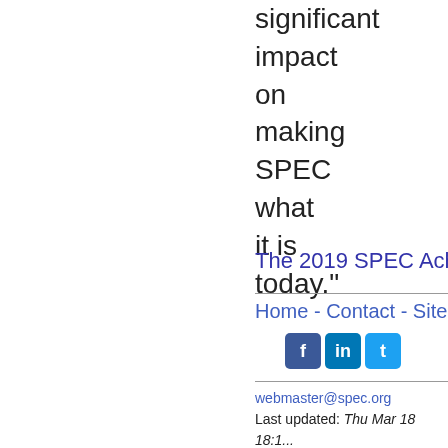significant impact on making SPEC what it is today."
The 2019 SPEC Achievemen...
Home - Contact - Site Map - P...
webmaster@spec.org
Last updated: Thu Mar 18 18:1...
Copyright 1995 - 2022 Standard... Corporation
URL: http://www.spec.org/spec...